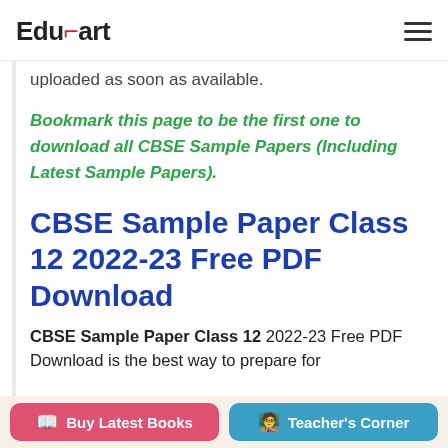EduCart [hamburger menu]
uploaded as soon as available.
Bookmark this page to be the first one to download all CBSE Sample Papers (Including Latest Sample Papers).
CBSE Sample Paper Class 12 2022-23 Free PDF Download
CBSE Sample Paper Class 12 2022-23 Free PDF Download is the best way to prepare for
Buy Latest Books | Teacher's Corner